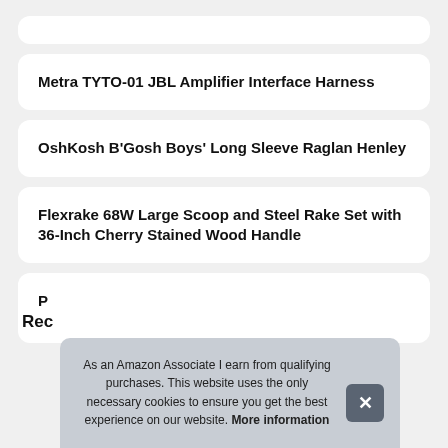Metra TYTO-01 JBL Amplifier Interface Harness
OshKosh B'Gosh Boys' Long Sleeve Raglan Henley
Flexrake 68W Large Scoop and Steel Rake Set with 36-Inch Cherry Stained Wood Handle
P
Rec
As an Amazon Associate I earn from qualifying purchases. This website uses the only necessary cookies to ensure you get the best experience on our website. More information